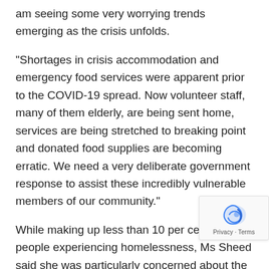am seeing some very worrying trends emerging as the crisis unfolds.
“Shortages in crisis accommodation and emergency food services were apparent prior to the COVID-19 spread. Now volunteer staff, many of them elderly, are being sent home, services are being stretched to breaking point and donated food supplies are becoming erratic. We need a very deliberate government response to assist these incredibly vulnerable members of our community.”
While making up less than 10 per cent of people experiencing homelessness, Ms Sheed said she was particularly concerned about the plight of rough sleepers.
“They are the most vulnerable. They are essentially in